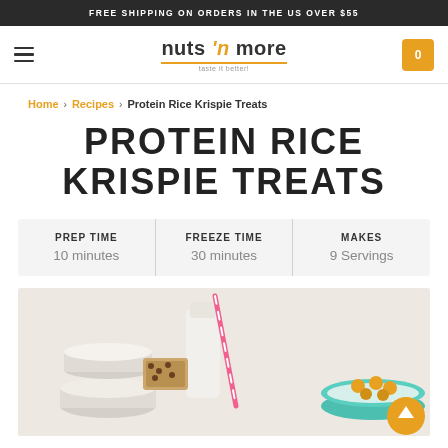FREE SHIPPING ON ORDERS IN THE US OVER $55
[Figure (logo): Nuts 'n More logo with orange underline, hamburger menu icon on left, shopping cart icon on right]
Home > Recipes > Protein Rice Krispie Treats
PROTEIN RICE KRISPIE TREATS
| PREP TIME | FREEZE TIME | MAKES |
| --- | --- | --- |
| 10 minutes | 30 minutes | 9 Servings |
[Figure (photo): Photo of protein rice krispie treats with a milk bottle, pink striped straw, stacked round containers, cereal bar pieces, and a teal bowl of snacks]